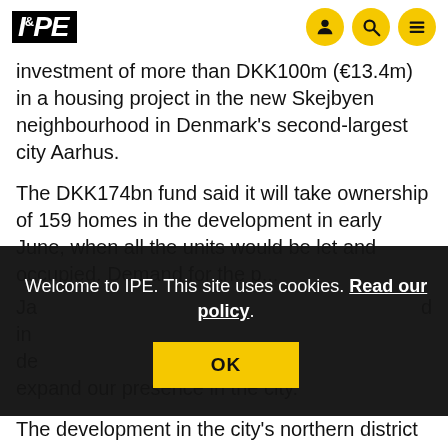IPE
investment of more than DKK100m (€13.4m) in a housing project in the new Skejbyen neighbourhood in Denmark's second-largest city Aarhus.
The DKK174bn fund said it will take ownership of 159 homes in the development in early June, when all the units would be let and occupied. Demand for the p...
Ja... d in... de... expand our presence in the city.
The development in the city's northern district of Vejlby has been built by Danish developer A.
Welcome to IPE. This site uses cookies. Read our policy.